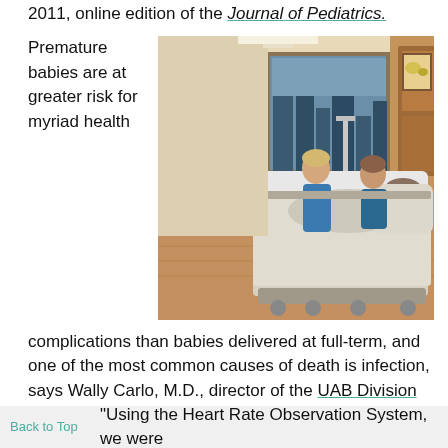2011, online edition of the Journal of Pediatrics.
Premature babies are at greater risk for myriad health
[Figure (photo): Hospital room photo showing a patient lying in a hospital bed with a nurse attending, city skyline visible through window, warm wood tones throughout the room]
complications than babies delivered at full-term, and one of the most common causes of death is infection, says Wally Carlo, M.D., director of the UAB Division of Neonatology. Carlo is co-author of the report on the Heart Rate Observation System (HeRO), a technology used to assess high-risk infants.
"Using the Heart Rate Observation System, we were able to..."